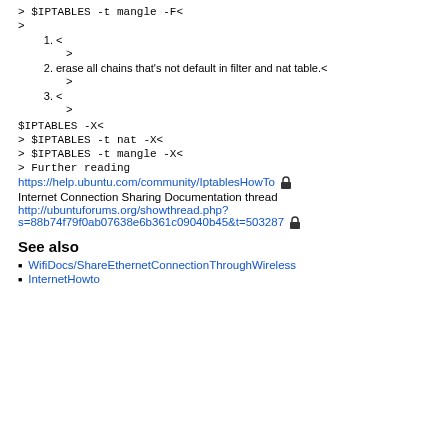> $IPTABLES -t mangle -F<
>
1. <
>
2. erase all chains that's not default in filter and nat table.<
>
3. <
>
$IPTABLES -X<
> $IPTABLES -t nat -X<
> $IPTABLES -t mangle -X<
> Further reading
https://help.ubuntu.com/community/IptablesHowTo 🔒
Internet Connection Sharing Documentation thread
http://ubuntuforums.org/showthread.php?s=88b74f79f0ab07638e6b361c09040b45&t=503287 🔒
See also
WifiDocs/ShareEthernetConnectionThroughWireless
InternetHowto